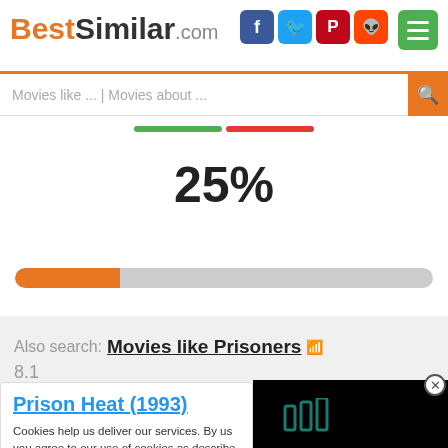BestSimilar.com
Movies like ... | Movies about ...
[Figure (infographic): 25% similarity score with orange progress bar showing 25% fill]
Also search: Movies like Prisoners 8.1
Prison Heat (1993)
Cookies help us deliver our services. By using our services, you agree to our use of cookies as described
Preferences
Accept